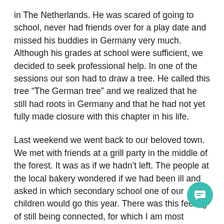in The Netherlands. He was scared of going to school, never had friends over for a play date and missed his buddies in Germany very much. Although his grades at school were sufficient, we decided to seek professional help. In one of the sessions our son had to draw a tree. He called this tree “The German tree” and we realized that he still had roots in Germany and that he had not yet fully made closure with this chapter in his life.
Last weekend we went back to our beloved town. We met with friends at a grill party in the middle of the forest. It was as if we hadn’t left. The people at the local bakery wondered if we had been ill and asked in which secondary school one of our children would go this year. There was this feeling of still being connected, for which I am most grateful.
The last day of our visit we went for a hike. We had